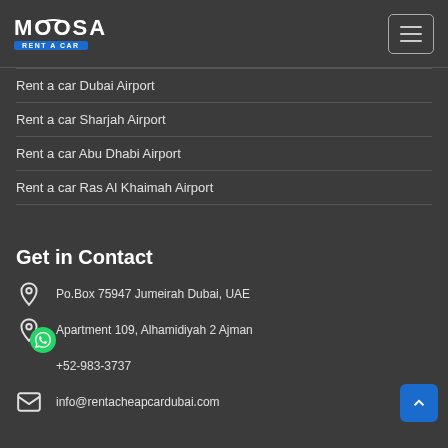[Figure (logo): Moosa Rent A Car logo — white bold text with blue subtitle bar]
Rent a car Dubai Airport
Rent a car Sharjah Airport
Rent a car Abu Dhabi Airport
Rent a car Ras Al Khaimah Airport
Get in Contact
Po.Box 75947 Jumeirah Dubai, UAE
Apartment 109, Alhamidiyah 2 Ajman
+52-983-3737
info@rentacheapcardubai.com